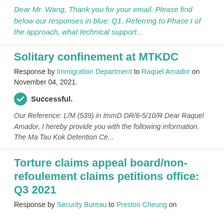Dear Mr. Wang, Thank you for your email. Please find below our responses in blue: Q1. Referring to Phase I of the approach, what technical support...
Solitary confinement at MTKDC
Response by Immigration Department to Raquel Amador on November 04, 2021.
Successful.
Our Reference: L/M (539) in ImmD DR/6-5/10/R Dear Raquel Amador, I hereby provide you with the following information. The Ma Tau Kok Detention Ce...
Torture claims appeal board/non-refoulement claims petitions office: Q3 2021
Response by Security Bureau to Preston Cheung on